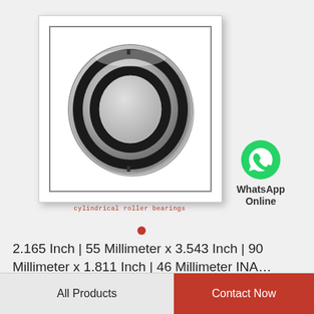[Figure (photo): Cylindrical roller bearing shown at an angle, with silver outer ring, black rubber seals, and visible inner bore. Product photo with white background inside a double-bordered box with drop shadow.]
cylindrical roller bearings
[Figure (logo): WhatsApp green circle icon with white phone handset graphic]
WhatsApp Online
2.165 Inch | 55 Millimeter x 3.543 Inch | 90 Millimeter x 1.811 Inch | 46 Millimeter INA...
All Products
Contact Now